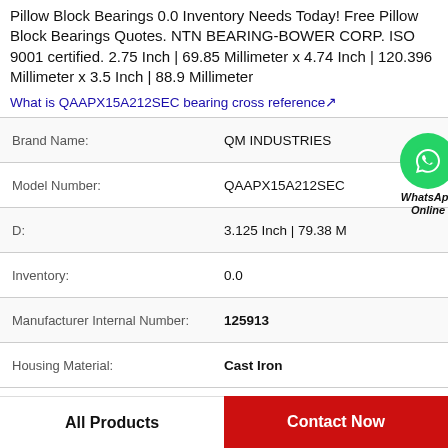Pillow Block Bearings 0.0 Inventory Needs Today! Free Pillow Block Bearings Quotes. NTN BEARING-BOWER CORP. ISO 9001 certified. 2.75 Inch | 69.85 Millimeter x 4.74 Inch | 120.396 Millimeter x 3.5 Inch | 88.9 Millimeter
What is QAAPX15A212SEC bearing cross reference↗
| Field | Value |
| --- | --- |
| Brand Name: | QM INDUSTRIES |
| Model Number: | QAAPX15A212SEC |
| D: | 3.125 Inch | 79.38 M |
| Inventory: | 0.0 |
| Manufacturer Internal Number: | 125913 |
| Housing Material: | Cast Iron |
All Products | Contact Now